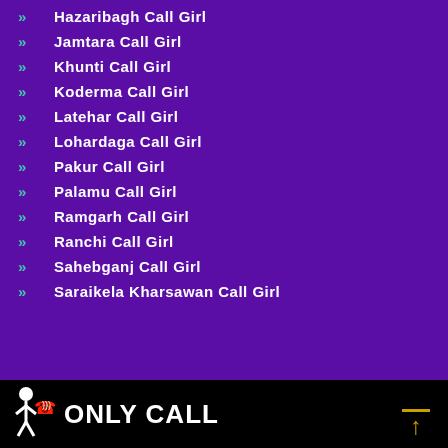Hazaribagh Call Girl
Jamtara Call Girl
Khunti Call Girl
Koderma Call Girl
Latehar Call Girl
Lohardaga Call Girl
Pakur Call Girl
Palamu Call Girl
Ramgarh Call Girl
Ranchi Call Girl
Sahebganj Call Girl
Saraikela Kharsawan Call Girl
[Figure (logo): Only Call logo with red phone icon and white figure, black background bar at bottom]